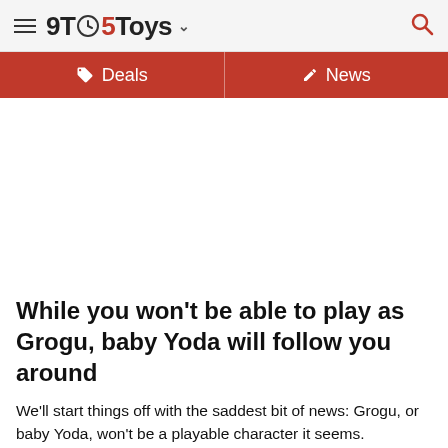9TO5Toys
Deals | News
[Figure (other): Advertisement/blank white area]
While you won’t be able to play as Grogu, baby Yoda will follow you around
We’ll start things off with the saddest bit of news: Grogu, or baby Yoda, won’t be a playable character it seems.